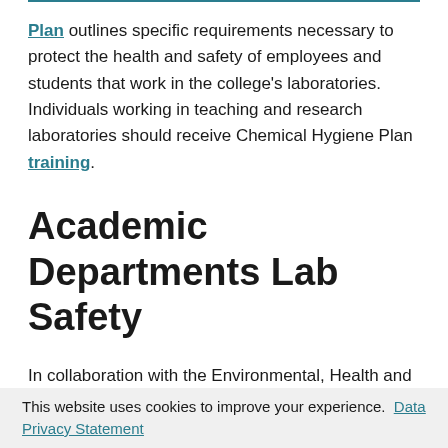Plan outlines specific requirements necessary to protect the health and safety of employees and students that work in the college's laboratories. Individuals working in teaching and research laboratories should receive Chemical Hygiene Plan training.
Academic Departments Lab Safety
In collaboration with the Environmental, Health and Safety Office (EHS), academic departments have established laboratory safety and communication protocols which govern their work. The Biology and Chemistry Departments follow rigorous safety
This website uses cookies to improve your experience. Data Privacy Statement